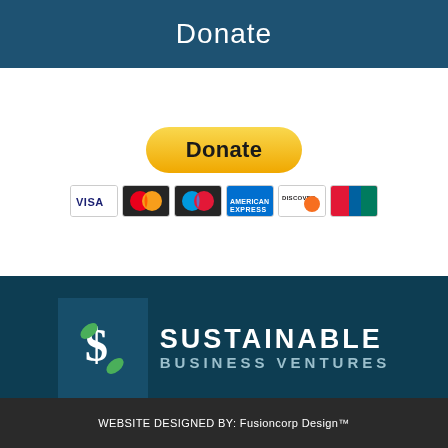Donate
[Figure (other): PayPal Donate button with payment card icons (Visa, Mastercard, Maestro, American Express, Discover, UnionPay)]
[Figure (logo): Sustainable Business Ventures logo with stylized dollar sign and leaf icons]
CONTACT SBV FOR MORE INFORMATION ON HOW TO GET INVOLVED
Contact Us
WEBSITE DESIGNED BY: Fusioncorp Design™